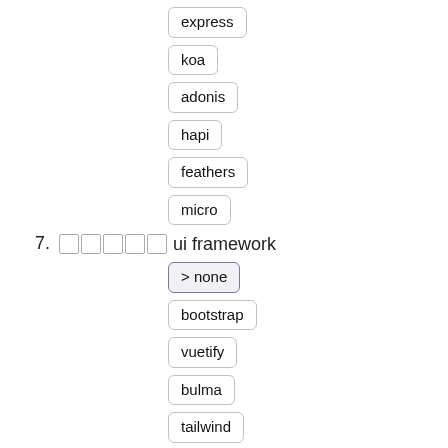express
koa
adonis
hapi
feathers
micro
7. [boxes] ui framework
> none
bootstrap
vuetify
bulma
tailwind
element-ui
buefy
8. Single Page App [boxes] mode website SEO [boxes] Universal
> Universal
SPA
9. website [boxes] api [boxes]